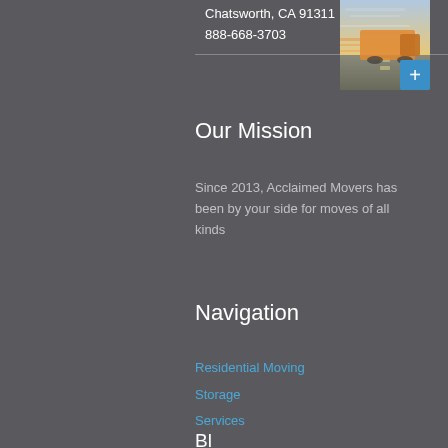Chatsworth, CA 91311
888-668-3703
[Figure (photo): A blurred motion photo of an orange moving truck on a highway, with a blue plus button overlay in the bottom right corner.]
Our Mission
Since 2013, Acclaimed Movers has been by your side for moves of all kinds
Navigation
Residential Moving
Storage
Services
Locations
Contact Us
Blog Articles